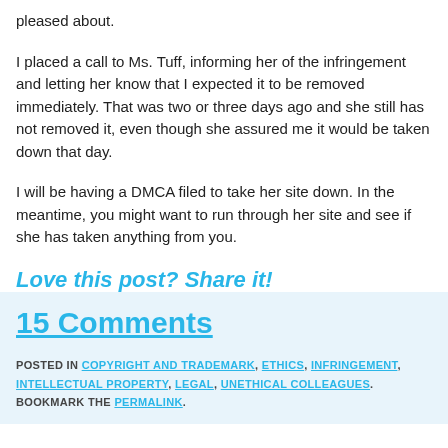pleased about.
I placed a call to Ms. Tuff, informing her of the infringement and letting her know that I expected it to be removed immediately. That was two or three days ago and she still has not removed it, even though she assured me it would be taken down that day.
I will be having a DMCA filed to take her site down. In the meantime, you might want to run through her site and see if she has taken anything from you.
Love this post? Share it!
15 Comments
POSTED IN COPYRIGHT AND TRADEMARK, ETHICS, INFRINGEMENT, INTELLECTUAL PROPERTY, LEGAL, UNETHICAL COLLEAGUES. BOOKMARK THE PERMALINK.